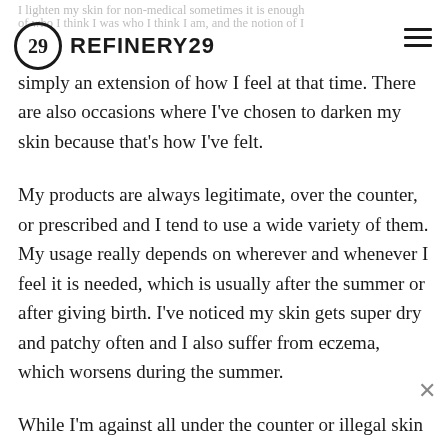REFINERY29
simply an extension of how I feel at that time. There are also occasions where I've chosen to darken my skin because that's how I've felt.
My products are always legitimate, over the counter, or prescribed and I tend to use a wide variety of them. My usage really depends on wherever and whenever I feel it is needed, which is usually after the summer or after giving birth. I've noticed my skin gets super dry and patchy often and I also suffer from eczema, which worsens during the summer.
While I'm against all under the counter or illegal skin lightening products, I also believe that one should be